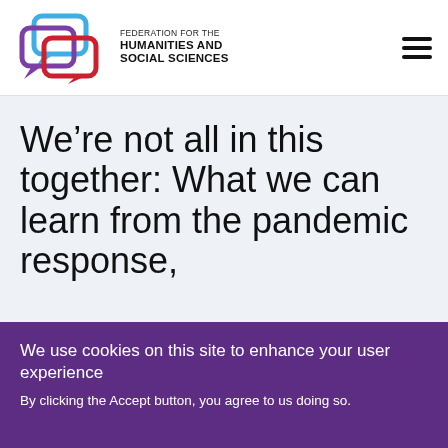[Figure (logo): Federation for the Humanities and Social Sciences logo: three overlapping speech bubble outlines in blue, purple, and red]
FEDERATION FOR THE HUMANITIES AND SOCIAL SCIENCES
[Figure (other): Hamburger menu icon: three horizontal black lines]
We’re not all in this together: What we can learn from the pandemic response,
We use cookies on this site to enhance your user experience
By clicking the Accept button, you agree to us doing so.